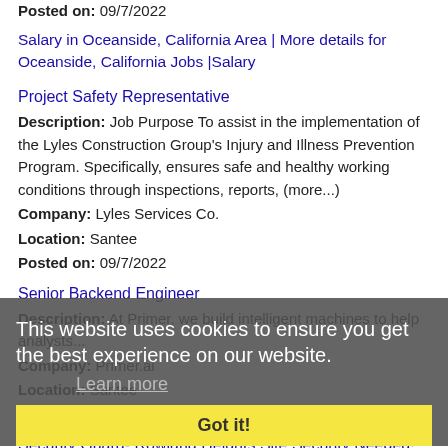Posted on: 09/7/2022
Salary in Oceanside, California Area | More details for Oceanside, California Jobs |Salary
Project Safety Representative
Description: Job Purpose To assist in the implementation of the Lyles Construction Group's Injury and Illness Prevention Program. Specifically, ensures safe and healthy working conditions through inspections, reports, (more...)
Company: Lyles Services Co.
Location: Santee
Posted on: 09/7/2022
Senior Backend Engineer
Description: At Primer, we build intelligent machines to help analysts...
Company: Primer.ai
Location: Santee
Posted on: 09/7/2022
This website uses cookies to ensure you get the best experience on our website.
Learn more
Got it!
Security Guard- Rowland Heights Site Security Needed!
Description: Allied Universal, North America s leading security and facility services company, provides rewarding careers that give you